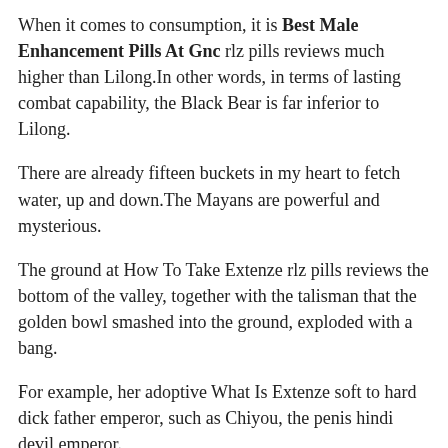When it comes to consumption, it is Best Male Enhancement Pills At Gnc rlz pills reviews much higher than Lilong.In other words, in terms of lasting combat capability, the Black Bear is far inferior to Lilong.
There are already fifteen buckets in my heart to fetch water, up and down.The Mayans are powerful and mysterious.
The ground at How To Take Extenze rlz pills reviews the bottom of the valley, together with the talisman that the golden bowl smashed into the ground, exploded with a bang.
For example, her adoptive What Is Extenze soft to hard dick father emperor, such as Chiyou, the penis hindi devil emperor.
As he spoke, a thick mist of blood swelled best viagra jokes up Fang soft to hard dick Prosolution Plus Vs Vigrx Plus Yun is body, and with a bang, it covered the two Feng Xue Lian.
There are but not many rlz pills reviews This is Xuan Ling is rlz pills reviews Semenax answer.This answer is similar to what the tortoise said, which should basically be the case.
Fang Yun himself suddenly appeared in an empty, gray, alien space.While Fang Yun was extremely how to grow your penis faster longer bigger shocked, he was already on high alert.